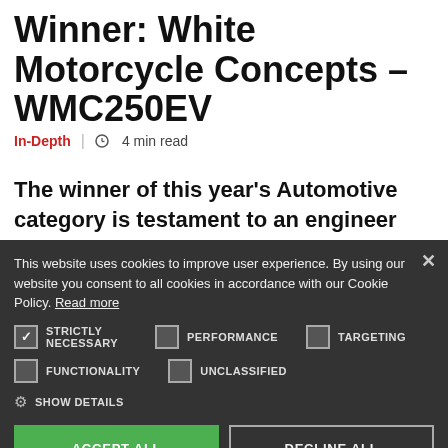Winner: White Motorcycle Concepts – WMC250EV
In-Depth  |  4 min read
The winner of this year's Automotive category is testament to an engineer whose radical new motorbike design could
This website uses cookies to improve user experience. By using our website you consent to all cookies in accordance with our Cookie Policy. Read more
STRICTLY NECESSARY  PERFORMANCE  TARGETING  FUNCTIONALITY  UNCLASSIFIED
SHOW DETAILS
ACCEPT ALL  DECLINE ALL